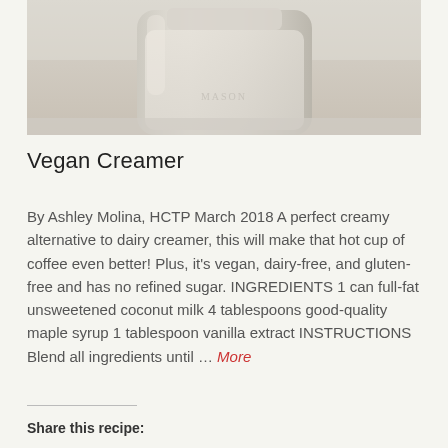[Figure (photo): A glass mason jar filled with a creamy white liquid (vegan creamer), photographed on a light surface near a window.]
Vegan Creamer
By Ashley Molina, HCTP March 2018 A perfect creamy alternative to dairy creamer, this will make that hot cup of coffee even better! Plus, it’s vegan, dairy-free, and gluten-free and has no refined sugar. INGREDIENTS 1 can full-fat unsweetened coconut milk 4 tablespoons good-quality maple syrup 1 tablespoon vanilla extract INSTRUCTIONS Blend all ingredients until … More
Share this recipe: